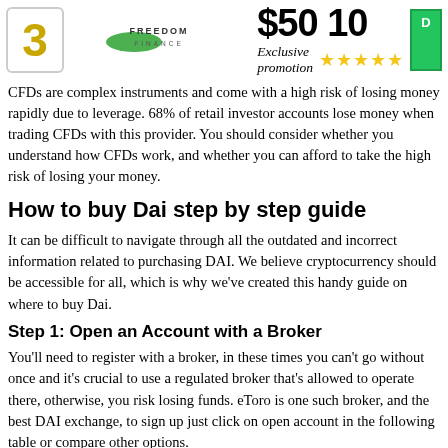[Figure (infographic): Header row showing rank #3 badge, Freedom Finance logo, $50 10 price, Exclusive promotion text with 4 gold stars, and a green button]
CFDs are complex instruments and come with a high risk of losing money rapidly due to leverage. 68% of retail investor accounts lose money when trading CFDs with this provider. You should consider whether you understand how CFDs work, and whether you can afford to take the high risk of losing your money.
How to buy Dai step by step guide
It can be difficult to navigate through all the outdated and incorrect information related to purchasing DAI. We believe cryptocurrency should be accessible for all, which is why we've created this handy guide on where to buy Dai.
Step 1: Open an Account with a Broker
You'll need to register with a broker, in these times you can't go without once and it's crucial to use a regulated broker that's allowed to operate there, otherwise, you risk losing funds. eToro is one such broker, and the best DAI exchange, to sign up just click on open account in the following table or compare other options.